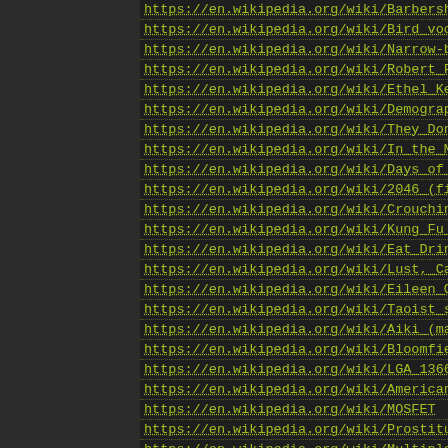https://en.wikipedia.org/wiki/Barbershop_...
https://en.wikipedia.org/wiki/Bird_vocaliza...
https://en.wikipedia.org/wiki/Narrow-body_...
https://en.wikipedia.org/wiki/Robert_F._Ke...
https://en.wikipedia.org/wiki/Ethel_Kenned...
https://en.wikipedia.org/wiki/Demograph ...
https://en.wikipedia.org/wiki/They_Don%...
https://en.wikipedia.org/wiki/In_the_Mood_...
https://en.wikipedia.org/wiki/Days_of_Beir...
https://en.wikipedia.org/wiki/2046_(film)
https://en.wikipedia.org/wiki/Crouching ...
https://en.wikipedia.org/wiki/Kung_Fu_Hu...
https://en.wikipedia.org/wiki/Eat_Drink_Ma...
https://en.wikipedia.org/wiki/Lust,_Caution...
https://en.wikipedia.org/wiki/Eileen_Chang...
https://en.wikipedia.org/wiki/Taoist_sexual...
https://en.wikipedia.org/wiki/Aiki_(mar ...
https://en.wikipedia.org/wiki/Bloomfiel ... o...
https://en.wikipedia.org/wiki/LGA_1366
https://en.wikipedia.org/wiki/American_Me...
https://en.wikipedia.org/wiki/MOSFET
https://en.wikipedia.org/wiki/Prostitution_in...
https://en.wikipedia.org/wiki/Multiple_citize...
https://en.wikipedia.org/wiki/Cravat_(early...
https://en.wikipedia.org/wiki/Yakuza